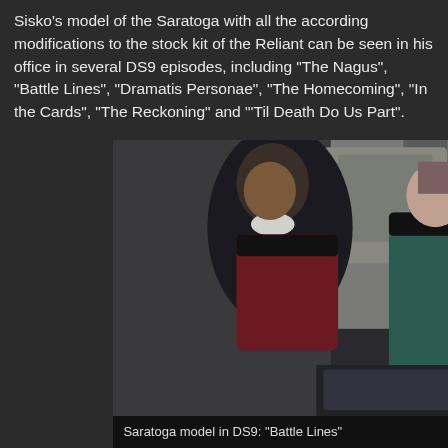Sisko's model of the Saratoga with all the according modifications to the stock kit of the Reliant can be seen in his office in several DS9 episodes, including "The Nagus", "Battle Lines", "Dramatis Personae", "The Homecoming", "In the Cards", "The Reckoning" and "'Til Death Do Us Part".
[Figure (photo): Two Star Trek DS9 characters in Starfleet uniforms in a scene from the episode 'Battle Lines'. A male character in a red/black uniform is in the foreground, a female character in a teal/black uniform is behind him. A Saratoga ship model is visible.]
Saratoga model in DS9: "Battle Lines"
[Figure (photo): A female character wearing an ornate golden/yellow costume with an elaborate headdress, standing in what appears to be a DS9 set. Partially visible, cut off at bottom.]